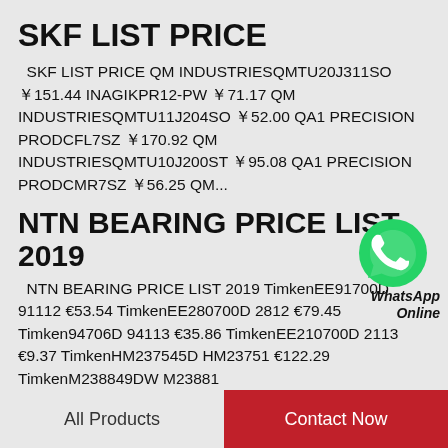SKF LIST PRICE
SKF LIST PRICE QM INDUSTRIESQMTU20J311SO ￥151.44 INAGIKPR12-PW ￥71.17 QM INDUSTRIESQMTU11J204SO ￥52.00 QA1 PRECISION PRODCFL7SZ ￥170.92 QM INDUSTRIESQMTU10J200ST ￥95.08 QA1 PRECISION PRODCMR7SZ ￥56.25 QM...
[Figure (logo): WhatsApp green chat bubble icon with WhatsApp Online label]
NTN BEARING PRICE LIST 2019
NTN BEARING PRICE LIST 2019 TimkenEE91700D 91112 €53.54 TimkenEE280700D 2812 €79.45 Timken94706D 94113 €35.86 TimkenEE210700D 2113 €9.37 TimkenHM237545D HM23751 €122.29 TimkenM238849DW M23881
All Products   Contact Now